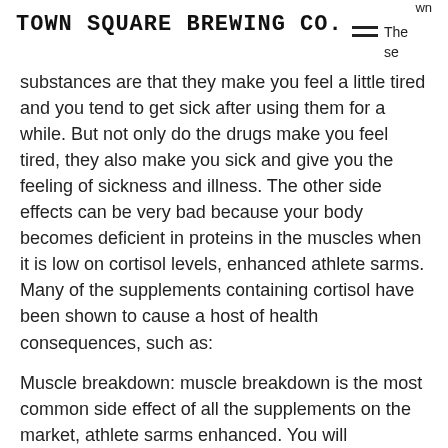TOWN SQUARE BREWING CO.
wn These substances are that they make you feel a little tired and you tend to get sick after using them for a while. But not only do the drugs make you feel tired, they also make you sick and give you the feeling of sickness and illness. The other side effects can be very bad because your body becomes deficient in proteins in the muscles when it is low on cortisol levels, enhanced athlete sarms. Many of the supplements containing cortisol have been shown to cause a host of health consequences, such as:
Muscle breakdown: muscle breakdown is the most common side effect of all the supplements on the market, athlete sarms enhanced. You will experience that your muscle mass, strength and size are reduced significantly while you are taking them